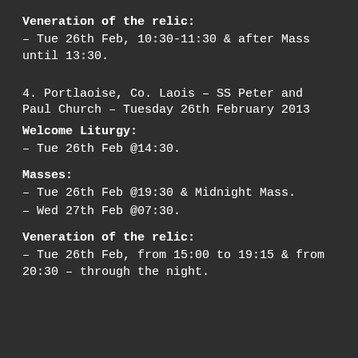Veneration of the relic:
– Tue 26th Feb, 10:30-11:30 & after Mass until 13:30.
4. Portlaoise, Co. Laois – SS Peter and Paul Church – Tuesday 26th February 2013
Welcome Liturgy:
– Tue 26th Feb @14:30.
Masses:
– Tue 26th Feb @19:30 & Midnight Mass.
– Wed 27th Feb @07:30.
Veneration of the relic:
– Tue 26th Feb, from 15:00 to 19:15 & from 20:30 – through the night.